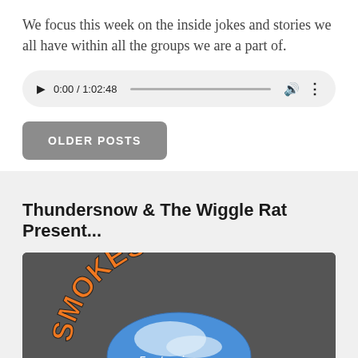We focus this week on the inside jokes and stories we all have within all the groups we are a part of.
[Figure (screenshot): Audio player showing 0:00 / 1:02:48 with play button, progress bar, volume and more icons]
OLDER POSTS
Thundersnow & The Wiggle Rat Present...
[Figure (logo): Podcast logo with orange arc text 'SMOKES PO' on dark background with globe/earth imagery and text 'Featuring...']